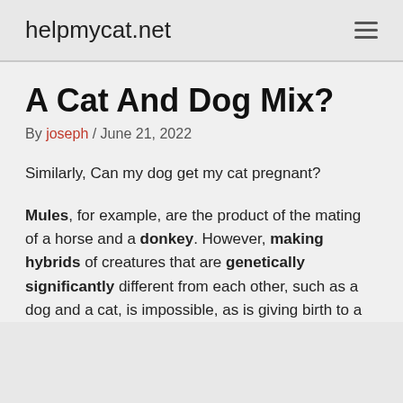helpmycat.net
A Cat And Dog Mix?
By joseph / June 21, 2022
Similarly, Can my dog get my cat pregnant?
Mules, for example, are the product of the mating of a horse and a donkey. However, making hybrids of creatures that are genetically significantly different from each other, such as a dog and a cat, is impossible, as is giving birth to a